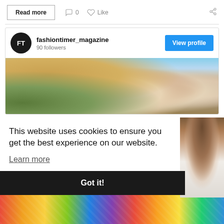Read more  ○ 0  ♡ Like  ⋯
[Figure (screenshot): Social media profile card for fashiontimer_magazine showing profile logo (FT), username, 90 followers, View profile button, and a banner photo of a group of people at a sunny outdoor location]
fashiontimer_magazine
90 followers
This website uses cookies to ensure you get the best experience on our website.
Learn more
Got it!
[Figure (photo): Colorful patterned image strip at the bottom of the page]